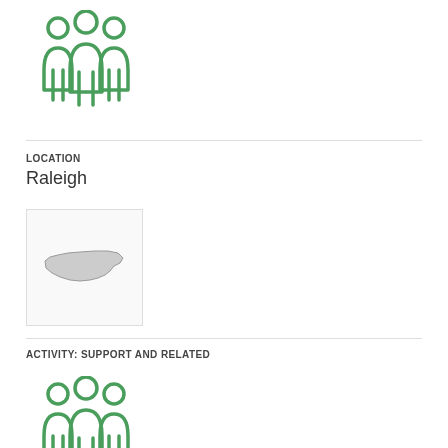[Figure (illustration): Green outline icon of three people (group/team icon)]
LOCATION
Raleigh
[Figure (map): Small map thumbnail showing the state of North Carolina outline in gray on light background]
ACTIVITY: SUPPORT AND RELATED
[Figure (illustration): Green outline icon of three people (group/team icon)]
LOCATION